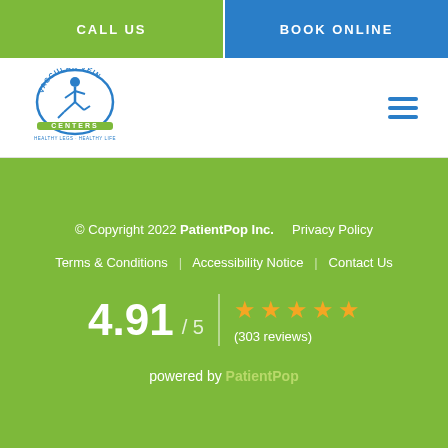CALL US
BOOK ONLINE
[Figure (logo): Vascular Vein Centers logo with a running figure inside a circular badge]
© Copyright 2022 PatientPop Inc.     Privacy Policy
Terms & Conditions     Accessibility Notice     Contact Us
4.91 / 5  ★★★★★  (303 reviews)
powered by PatientPop